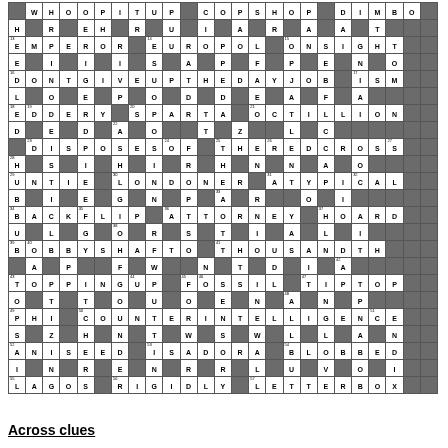[Figure (other): Crossword puzzle grid with letters filled in, showing answers including WHOOPITUP, COPSHOP, DIMBO, EMPEROR, EUROPOL, ONSIGHT, DONTGIVEUPTHEDAYJOB, ISM, EDDERY, SPARTA, OCTILLION, DISPOSESOF, THEREDCROSS, UNTIE, LONDONER, ATYPICAL, BACKFLIP, ATTORNEY, HOARD, BOBBYSHAFO, THOUSANDTH, TOPPINGUP, FOSSIL, TIPTOP, PHI, COUNTERINTELLIGENCE, ANISEED, ISADORA, BLOBBED, LAGOS, RIGIDLY, LETTERBOX]
Across clues